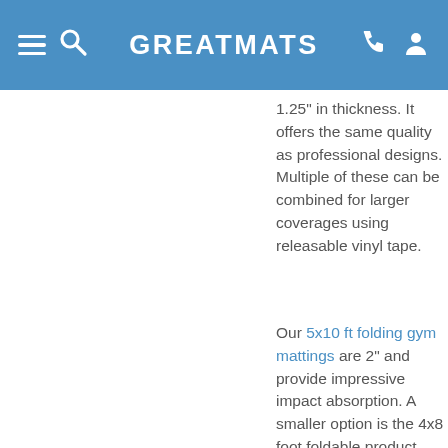GREATMATS
1.25" in thickness. It offers the same quality as professional designs. Multiple of these can be combined for larger coverages using releasable vinyl tape.
Our 5x10 ft folding gym mattings are 2" and provide impressive impact absorption. A smaller option is the 4x8 foot foldable product, which also has a 2" thickness. It